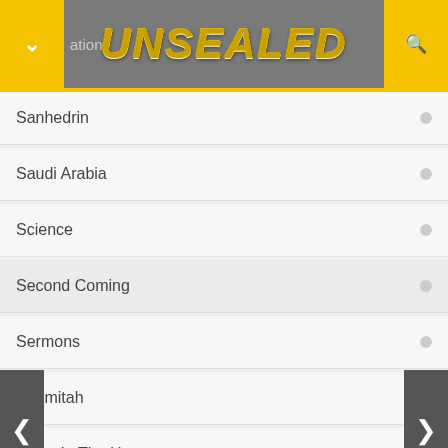UNSEALED
Sanhedrin
Saudi Arabia
Science
Second Coming
Sermons
Shemitah
Signs In The Heavens
Signs On The Earth
Solar Eclipse
Sudden Destruction